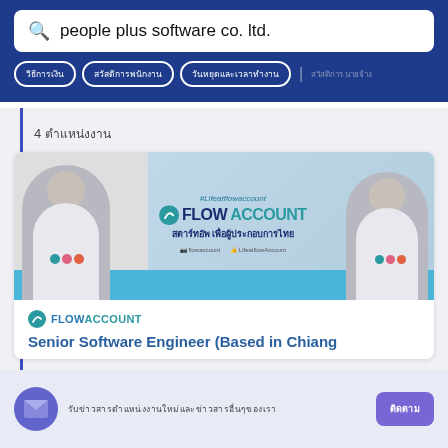people plus software co. ltd.
[Thai navigation tabs: tab1, tab2, tab3 | extra options]
4 ผลการค้นหา
[Figure (photo): FlowAccount company banner showing two employees in white t-shirts with #Lifeatflowaccount branding, FLOWACCOUNT logo, Thai tagline 'สตาร์ทอัพ เพื่อผู้ประกอบการไทย', and social media handles]
[Figure (logo): FlowAccount teal logo icon with company name]
Senior Software Engineer (Based in Chiang
[Thai notification text] [Subscribe button]